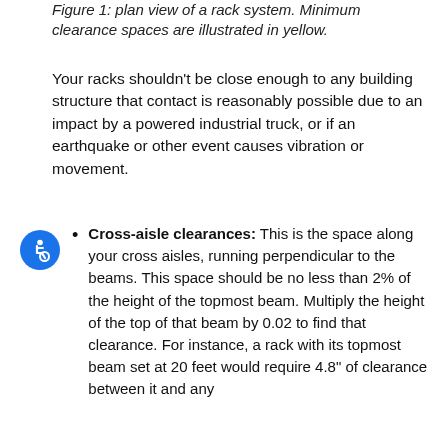Figure 1: plan view of a rack system. Minimum clearance spaces are illustrated in yellow.
Your racks shouldn't be close enough to any building structure that contact is reasonably possible due to an impact by a powered industrial truck, or if an earthquake or other event causes vibration or movement.
Cross-aisle clearances: This is the space along your cross aisles, running perpendicular to the beams. This space should be no less than 2% of the height of the topmost beam. Multiply the height of the top of that beam by 0.02 to find that clearance. For instance, a rack with its topmost beam set at 20 feet would require 4.8" of clearance between it and any